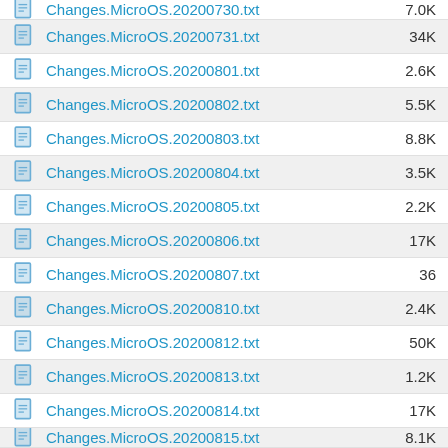Changes.MicroOS.20200730.txt  7.0K
Changes.MicroOS.20200731.txt  34K
Changes.MicroOS.20200801.txt  2.6K
Changes.MicroOS.20200802.txt  5.5K
Changes.MicroOS.20200803.txt  8.8K
Changes.MicroOS.20200804.txt  3.5K
Changes.MicroOS.20200805.txt  2.2K
Changes.MicroOS.20200806.txt  17K
Changes.MicroOS.20200807.txt  36
Changes.MicroOS.20200810.txt  2.4K
Changes.MicroOS.20200812.txt  50K
Changes.MicroOS.20200813.txt  1.2K
Changes.MicroOS.20200814.txt  17K
Changes.MicroOS.20200815.txt  8.1K